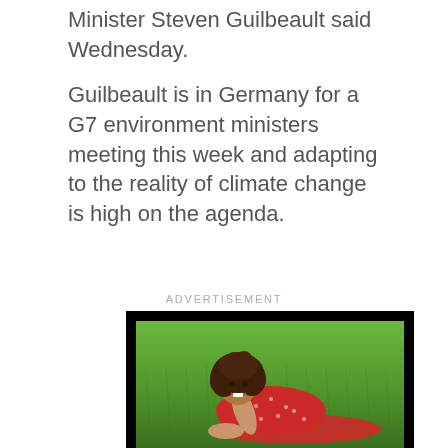Minister Steven Guilbeault said Wednesday.
Guilbeault is in Germany for a G7 environment ministers meeting this week and adapting to the reality of climate change is high on the agenda.
ADVERTISEMENT
[Figure (photo): A young woman with curly brown hair wearing a red polka-dot dress, lying on green grass and smiling at the camera, within a black-bordered advertisement frame.]